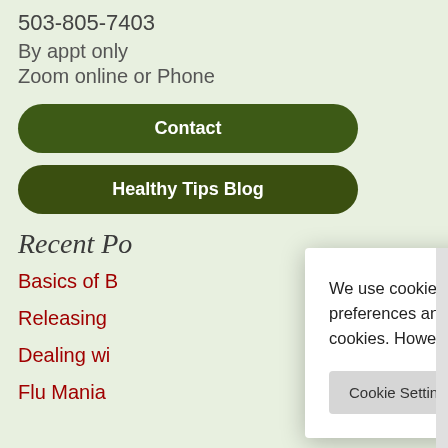503-805-7403
By appt only
Zoom online or Phone
Contact
Healthy Tips Blog
Recent Po
Basics of B
Releasing
Dealing wi
Flu Mania
We use cookies on our website to give you the most relevant experience by remembering your preferences and repeat visits. By clicking “Accept All”, you consent to the use of ALL the cookies. However, you may visit "Cookie Settings" to provide a controlled consent.
Cookie Settings
Accept All